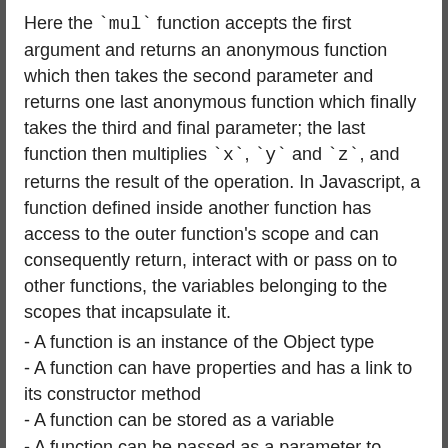Here the `mul` function accepts the first argument and returns an anonymous function which then takes the second parameter and returns one last anonymous function which finally takes the third and final parameter; the last function then multiplies `x`, `y` and `z`, and returns the result of the operation. In Javascript, a function defined inside another function has access to the outer function's scope and can consequently return, interact with or pass on to other functions, the variables belonging to the scopes that incapsulate it.
- A function is an instance of the Object type
- A function can have properties and has a link to its constructor method
- A function can be stored as a variable
- A function can be passed as a parameter to another function
- A function can be returned by another function
Question 6. How to create an array in JavaScript?